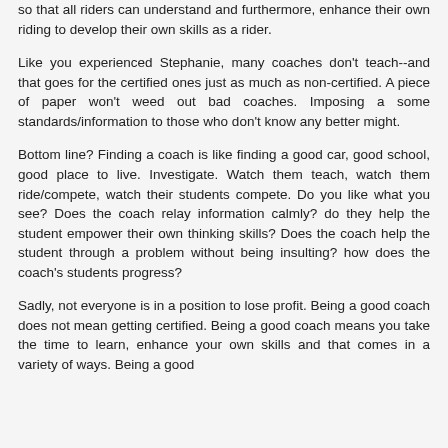so that all riders can understand and furthermore, enhance their own riding to develop their own skills as a rider.
Like you experienced Stephanie, many coaches don't teach--and that goes for the certified ones just as much as non-certified. A piece of paper won't weed out bad coaches. Imposing a some standards/information to those who don't know any better might.
Bottom line? Finding a coach is like finding a good car, good school, good place to live. Investigate. Watch them teach, watch them ride/compete, watch their students compete. Do you like what you see? Does the coach relay information calmly? do they help the student empower their own thinking skills? Does the coach help the student through a problem without being insulting? how does the coach's students progress?
Sadly, not everyone is in a position to lose profit. Being a good coach does not mean getting certified. Being a good coach means you take the time to learn, enhance your own skills and that comes in a variety of ways. Being a good coach does not mean getting certified.